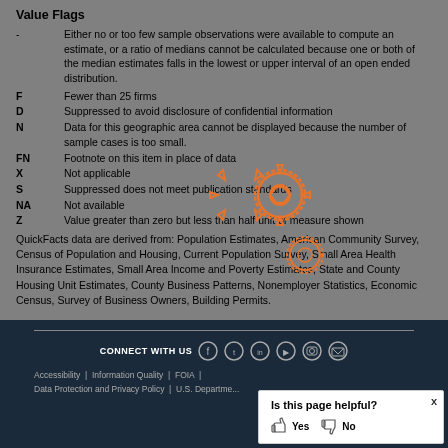Value Flags
- Either no or too few sample observations were available to compute an estimate, or a ratio of medians cannot be calculated because one or both of the median estimates falls in the lowest or upper interval of an open ended distribution.
F  Fewer than 25 firms
D  Suppressed to avoid disclosure of confidential information
N  Data for this geographic area cannot be displayed because the number of sample cases is too small.
FN  Footnote on this item in place of data
X  Not applicable
S  Suppressed does not meet publication standards
NA  Not available
Z  Value greater than zero but less than half unit of measure shown
QuickFacts data are derived from: Population Estimates, American Community Survey, Census of Population and Housing, Current Population Survey, Small Area Health Insurance Estimates, Small Area Income and Poverty Estimates, State and County Housing Unit Estimates, County Business Patterns, Nonemployer Statistics, Economic Census, Survey of Business Owners, Building Permits.
[Figure (illustration): Gear/settings icon overlay in orange]
CONNECT WITH US | Accessibility | Information Quality | FOIA | Data Protection and Privacy Policy | U.S. Department...
Is this page helpful? Yes No